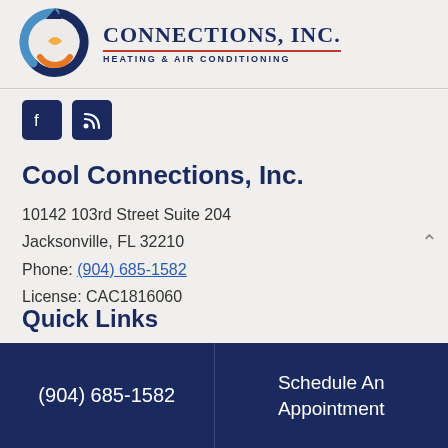[Figure (logo): Cool Connections Inc. logo with circular arrows and company name with tagline Heating & Air Conditioning]
[Figure (infographic): Social media icons: Facebook and RSS feed icons in dark navy blue square buttons]
Cool Connections, Inc.
10142 103rd Street Suite 204
Jacksonville, FL 32210
Phone: (904) 685-1582
License: CAC1816060
Quick Links
Home
(904) 685-1582 | Schedule An Appointment